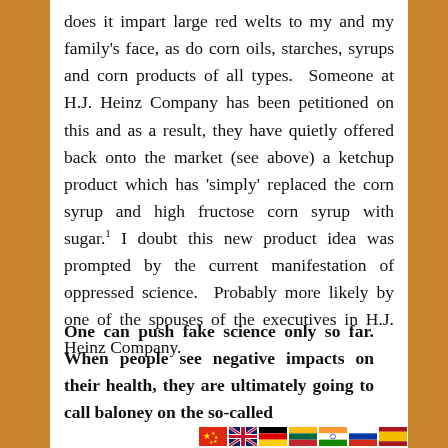does it impart large red welts to my and my family's face, as do corn oils, starches, syrups and corn products of all types.  Someone at H.J. Heinz Company has been petitioned on this and as a result, they have quietly offered back onto the market (see above) a ketchup product which has 'simply' replaced the corn syrup and high fructose corn syrup with sugar.¹ I doubt this new product idea was prompted by the current manifestation of oppressed science.  Probably more likely by one of the spouses of the executives in H.J. Heinz Company.
One can push fake science only so far. When people see negative impacts on their health, they are ultimately going to call baloney on the so-called